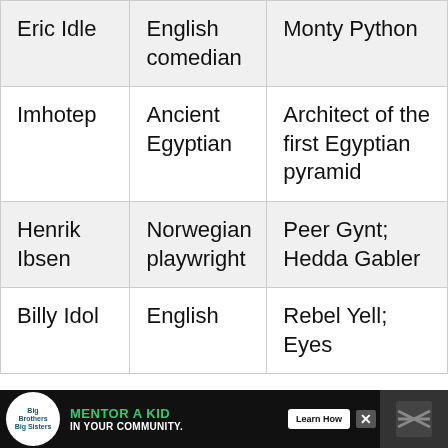| Eric Idle | English comedian | Monty Python |
| Imhotep | Ancient Egyptian | Architect of the first Egyptian pyramid |
| Henrik Ibsen | Norwegian playwright | Peer Gynt; Hedda Gabler |
| Billy Idol | English | Rebel Yell; Eyes |
[Figure (infographic): Advertisement banner: Big Brothers Big Sisters 'Mentor a Kid in Your Community' with Learn How button]